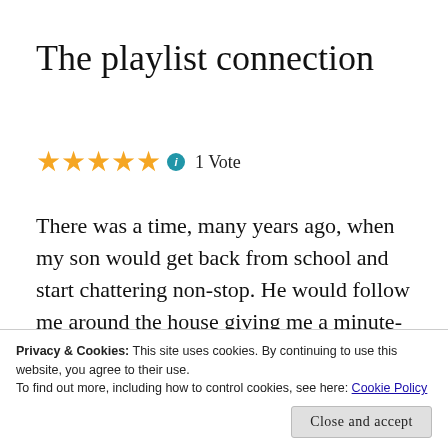The playlist connection
★★★★★ ℹ 1 Vote
There was a time, many years ago, when my son would get back from school and start chattering non-stop. He would follow me around the house giving me a minute-by-
Privacy & Cookies: This site uses cookies. By continuing to use this website, you agree to their use.
To find out more, including how to control cookies, see here: Cookie Policy
Close and accept
the comments made by his friends. He